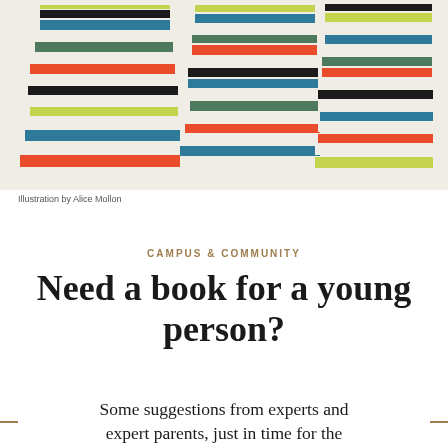[Figure (illustration): Colorful stacked books illustration — multiple stacks of books in various colors including blue, orange, red, white, yellow-green, dark green, and black, arranged in a dense, flat-art style.]
Illustration by Alice Mollon
CAMPUS & COMMUNITY
Need a book for a young person?
Some suggestions from experts and expert parents, just in time for the